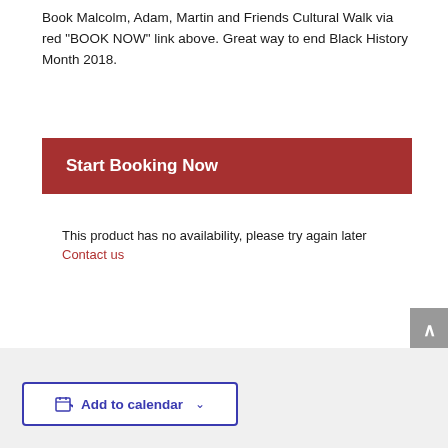Book Malcolm, Adam, Martin and Friends Cultural Walk via red "BOOK NOW" link above. Great way to end Black History Month 2018.
Start Booking Now
This product has no availability, please try again later
Contact us
Add to calendar